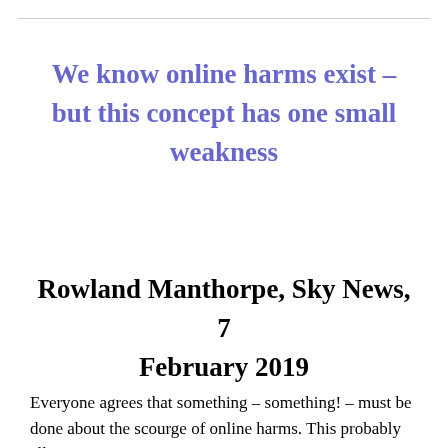We know online harms exist – but this concept has one small weakness
Rowland Manthorpe, Sky News, 7 February 2019
Everyone agrees that something – something! – must be done about the scourge of online harms. This probably all